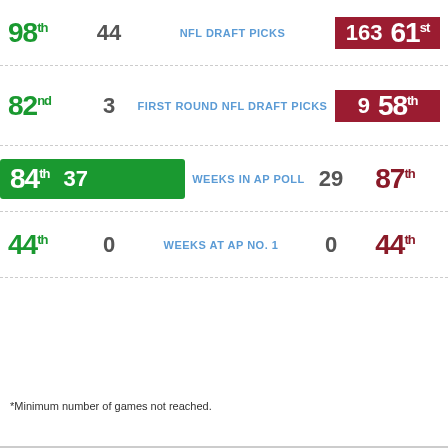| Rank (Left) | Value (Left) | Category | Value (Right) | Rank (Right) |
| --- | --- | --- | --- | --- |
| 98th | 44 | NFL DRAFT PICKS | 163 | 61st |
| 82nd | 3 | FIRST ROUND NFL DRAFT PICKS | 9 | 58th |
| 84th | 37 | WEEKS IN AP POLL | 29 | 87th |
| 44th | 0 | WEEKS AT AP NO. 1 | 0 | 44th |
*Minimum number of games not reached.